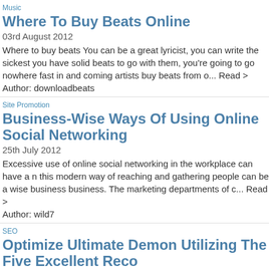Music
Where To Buy Beats Online
03rd August 2012
Where to buy beats You can be a great lyricist, you can write the sickest you have solid beats to go with them, you're going to go nowhere fast in and coming artists buy beats from o... Read >
Author: downloadbeats
Site Promotion
Business-Wise Ways Of Using Online Social Networking
25th July 2012
Excessive use of online social networking in the workplace can have a n this modern way of reaching and gathering people can be a wise business business. The marketing departments of c... Read >
Author: wild7
SEO
Optimize Ultimate Demon Utilizing The Five Excellent Reco
21st March 2012
Before heading racing ahead making content of your Ultimate Demon sit informative article distribution for your website, it's value checking out ke that the pain you are writing may be known rel... Read >